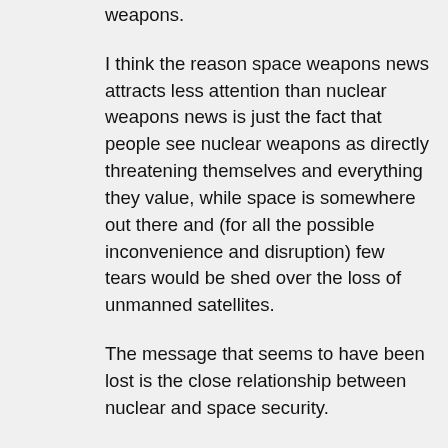weapons.
I think the reason space weapons news attracts less attention than nuclear weapons news is just the fact that people see nuclear weapons as directly threatening themselves and everything they value, while space is somewhere out there and (for all the possible inconvenience and disruption) few tears would be shed over the loss of unmanned satellites.
The message that seems to have been lost is the close relationship between nuclear and space security.
John Schilling's comments exemplify this; since he is an expert in his own right on all of this, I can only ascribe his position to denial of the received wisdom that space